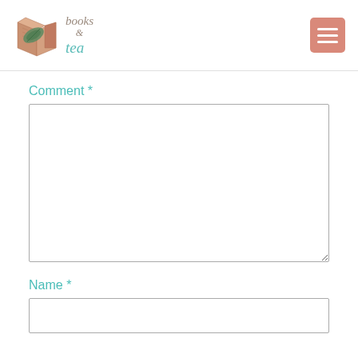[Figure (logo): Books & Tea blog logo with illustrated open book and feather/leaf, text reads 'books & tea']
Comment *
Name *